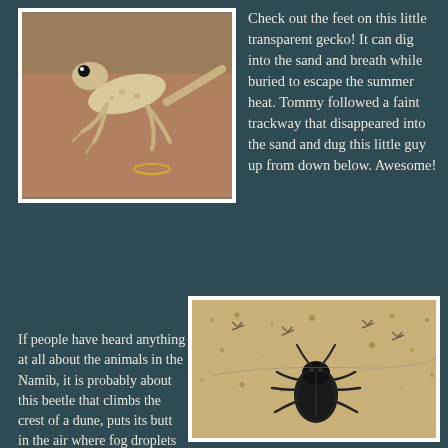[Figure (photo): A small transparent gecko resting on a human hand, showing its distinctive feet and pale coloring.]
Check out the feet on this little transparent gecko! It can dig into the sand and breath while buried to escape the summer heat. Tommy followed a faint trackway that disappeared into the sand and dug this little guy up from down below. Awesome!
[Figure (photo): A dark black beetle on sandy desert ground, with smaller insects visible in the background sand. This is likely a Namib fog-basking beetle.]
If people have heard anything at all about the animals in the Namib, it is probably about this beetle that climbs the crest of a dune, puts its butt in the air where fog droplets coalesce and run down its body into its mouth. Water.